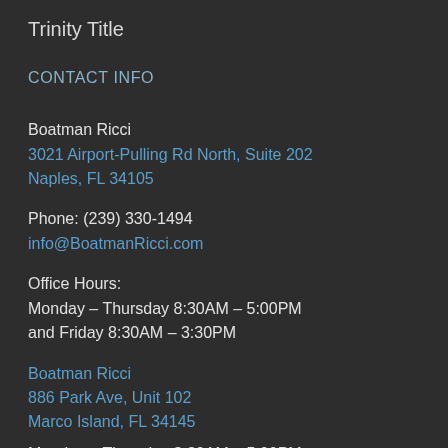Trinity Title
CONTACT INFO
Boatman Ricci
3021 Airport-Pulling Rd North, Suite 202
Naples, FL 34105
Phone: (239) 330-1494
info@BoatmanRicci.com
Office Hours:
Monday – Thursday 8:30AM – 5:00PM
and Friday 8:30AM – 3:30PM
Boatman Ricci
886 Park Ave, Unit 102
Marco Island, FL 34145
Monday – Thursday 8:30AM – 5:00PM